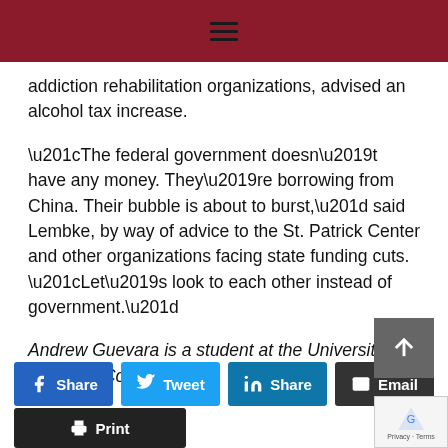≡
addiction rehabilitation organizations, advised an alcohol tax increase.
“The federal government doesn’t have any money. They’re borrowing from China. Their bubble is about to burst,” said Lembke, by way of advice to the St. Patrick Center and other organizations facing state funding cuts. “Let’s look to each other instead of government.”
Andrew Guevara is a student at the University of Missouri–Columbia.